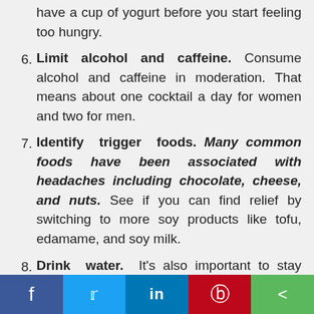have a cup of yogurt before you start feeling too hungry.
6. Limit alcohol and caffeine. Consume alcohol and caffeine in moderation. That means about one cocktail a day for women and two for men.
7. Identify trigger foods. Many common foods have been associated with headaches including chocolate, cheese, and nuts. See if you can find relief by switching to more soy products like tofu, edamame, and soy milk.
8. Drink water. It's also important to stay hydrated. Carry around a water bottle you can sip from anytime.
f  Twitter  in  Pinterest  Share